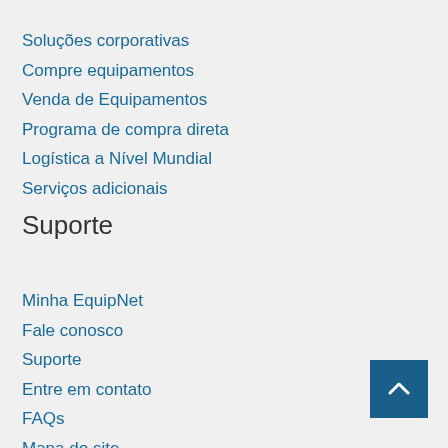Soluções corporativas
Compre equipamentos
Venda de Equipamentos
Programa de compra direta
Logística a Nível Mundial
Serviços adicionais
Suporte
Minha EquipNet
Fale conosco
Suporte
Entre em contato
FAQs
Mapa do site